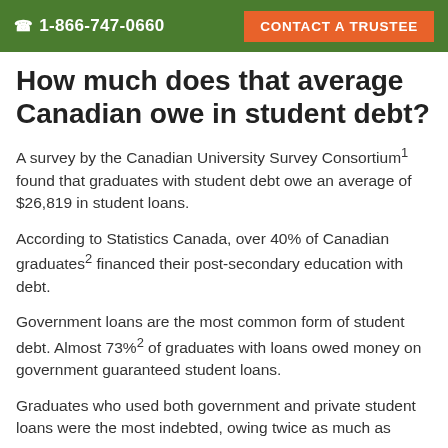☎ 1-866-747-0660   CONTACT A TRUSTEE
How much does that average Canadian owe in student debt?
A survey by the Canadian University Survey Consortium¹ found that graduates with student debt owe an average of $26,819 in student loans.
According to Statistics Canada, over 40% of Canadian graduates² financed their post-secondary education with debt.
Government loans are the most common form of student debt. Almost 73%² of graduates with loans owed money on government guaranteed student loans.
Graduates who used both government and private student loans were the most indebted, owing twice as much as